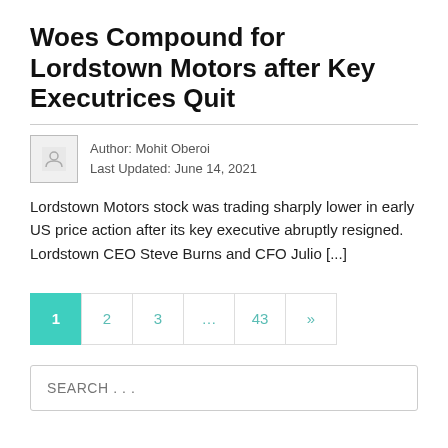Woes Compound for Lordstown Motors after Key Executrices Quit
Author: Mohit Oberoi
Last Updated: June 14, 2021
Lordstown Motors stock was trading sharply lower in early US price action after its key executive abruptly resigned. Lordstown CEO Steve Burns and CFO Julio [...]